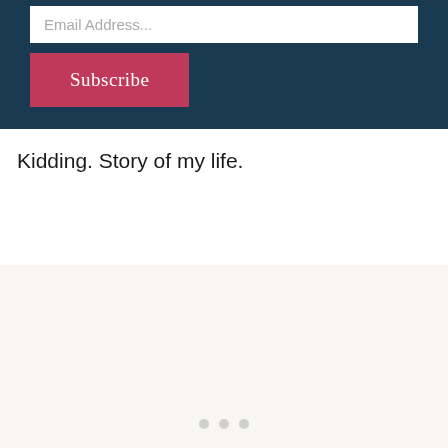[Figure (screenshot): Dark navy blue panel with a white email address input field showing placeholder text 'Email Address...' and a pink/red 'Subscribe' button below it]
Kidding. Story of my life.
[Figure (screenshot): Light grey/off-white panel with faint dot/icon elements near the bottom center, appears to be a social sharing or navigation widget area]